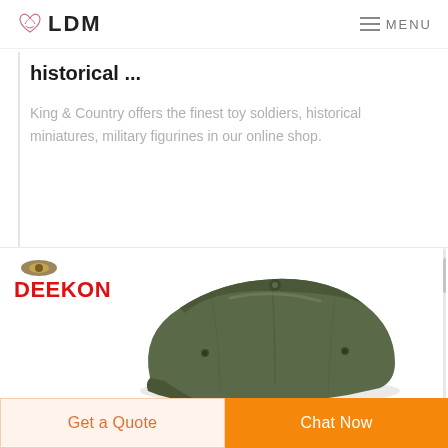LDM  MENU
historical ...
King & Country offers the finest toy soldiers, historical miniatures, military figurines in our online shop.
[Figure (photo): Deekon brand logo in red text with emblem above, and a photo of an olive green military-style cap on white background]
Get a Quote  Chat Now